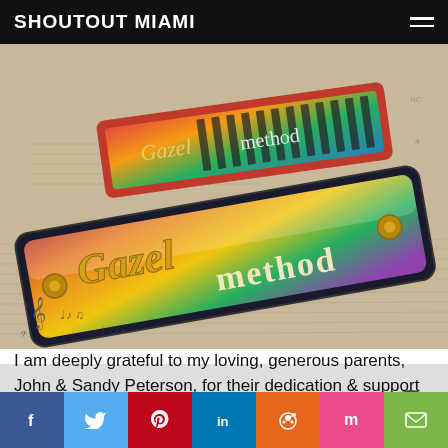SHOUTOUT MIAMI
[Figure (photo): Colorful stylized illustration of harmonicas labeled 'Gazel method' overlaid on sheet music, rendered in vivid reds, yellows, blues and greens]
Who else deserves some credit and recognition?
I am deeply grateful to my loving, generous parents, John & Sandy Peterson, for their dedication & support in my pursuit & passion of the performing arts in my youth, fostering my